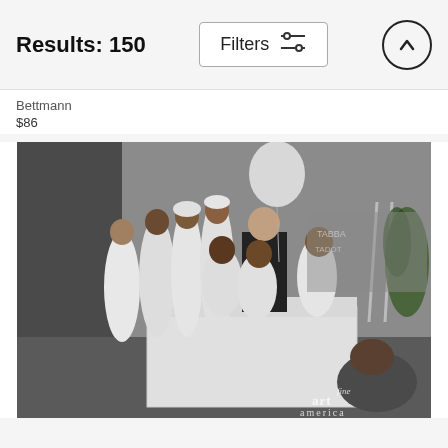Results: 150
Bettmann
$86
[Figure (photo): Black and white historical photograph showing a baptism or religious ceremony. Several people dressed in white robes stand around a white baptismal pool/font. A man in a dark suit stands in the center background. Crutches and decorative elements are visible in the background. A balloon hangs above. Fine Art America watermark visible in bottom right corner.]